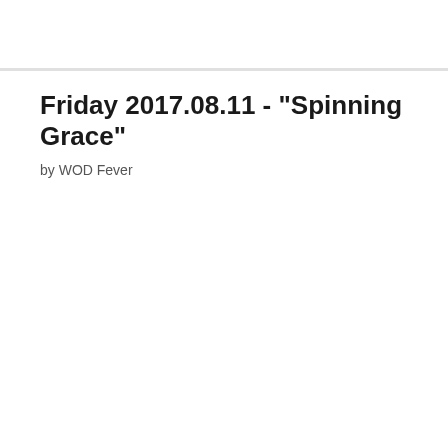Friday 2017.08.11 - "Spinning Grace"
by WOD Fever
[Figure (photo): Dark reddish-brown background photo of barbell weight plates with overlaid text: 'FRIDAY 2017.08.11' in a red-bordered box, 'BENCHMARK WOD "SPINNING GRACE"', '30 X CLEAN & JERKS (135/95#)', 'ROTATE 360-DEGREES AFTER EACH LOCKOUT WITH BAR IN OVERHEAD POSITION']